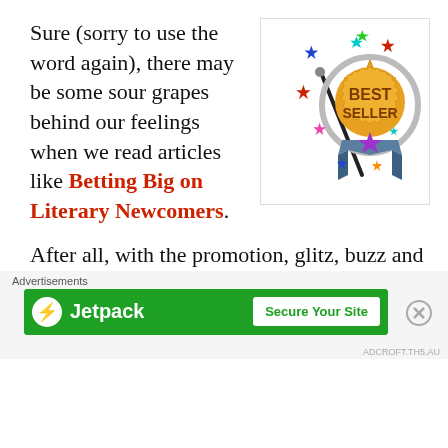Sure (sorry to use the word again), there may be some sour grapes behind our feelings when we read articles like Betting Big on Literary Newcomers.
[Figure (illustration): Best Seller badge/medal with colorful stars and a magic wand, on a ribbon.]
After all, with the promotion, glitz, buzz and hoopla behind a book with a million bucks behind it, we could skip all the years of being
Advertisements
[Figure (logo): Jetpack advertisement banner with green background, Jetpack logo and 'Secure Your Site' button.]